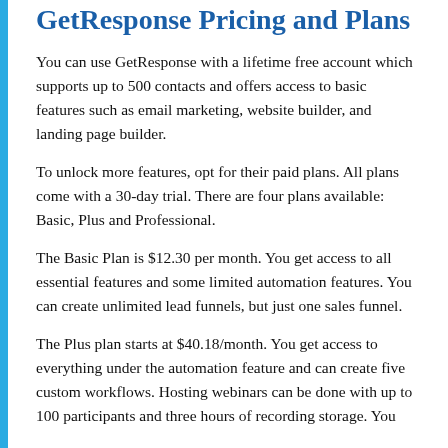GetResponse Pricing and Plans
You can use GetResponse with a lifetime free account which supports up to 500 contacts and offers access to basic features such as email marketing, website builder, and landing page builder.
To unlock more features, opt for their paid plans. All plans come with a 30-day trial. There are four plans available: Basic, Plus and Professional.
The Basic Plan is $12.30 per month. You get access to all essential features and some limited automation features. You can create unlimited lead funnels, but just one sales funnel.
The Plus plan starts at $40.18/month. You get access to everything under the automation feature and can create five custom workflows. Hosting webinars can be done with up to 100 participants and three hours of recording storage. You